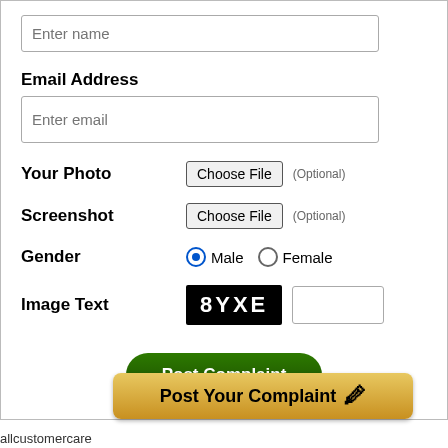[Figure (screenshot): Web form screenshot showing fields: name input, Email Address label, email input, Your Photo with Choose File button (Optional), Screenshot with Choose File button (Optional), Gender radio buttons (Male selected, Female), Image Text CAPTCHA (8YXE) with input box, Post Complaint button, and Post Your Complaint banner at bottom]
allcustomercare